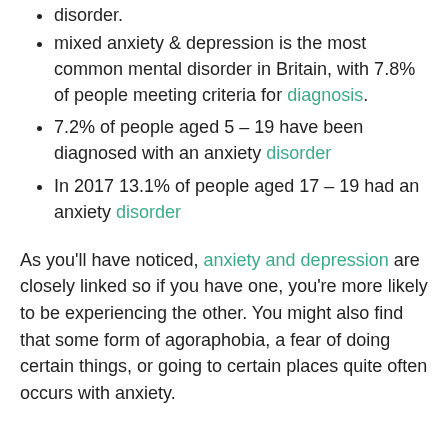3.1% of people suffer with a generalised anxiety disorder.
mixed anxiety & depression is the most common mental disorder in Britain, with 7.8% of people meeting criteria for diagnosis.
7.2% of people aged 5 – 19 have been diagnosed with an anxiety disorder
In 2017 13.1% of people aged 17 – 19 had an anxiety disorder
As you'll have noticed, anxiety and depression are closely linked so if you have one, you're more likely to be experiencing the other. You might also find that some form of agoraphobia, a fear of doing certain things, or going to certain places quite often occurs with anxiety.